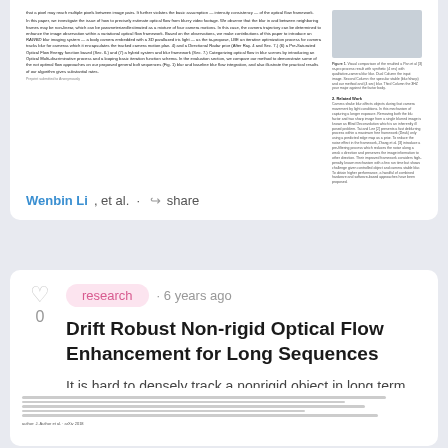[Figure (screenshot): Thumbnail preview of a scientific paper with dense small text on the left and a figure image on the right]
Wenbin Li, et al. · share
research · 6 years ago
Drift Robust Non-rigid Optical Flow Enhancement for Long Sequences
It is hard to densely track a nonrigid object in long term, which is a f...
[Figure (screenshot): Partial thumbnail preview of another scientific paper at the bottom of the page]